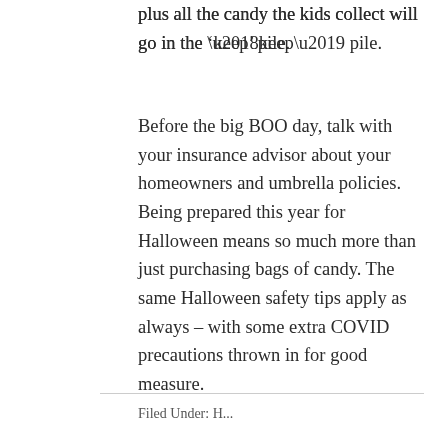plus all the candy the kids collect will go in the ‘keep’ pile.
Before the big BOO day, talk with your insurance advisor about your homeowners and umbrella policies. Being prepared this year for Halloween means so much more than just purchasing bags of candy. The same Halloween safety tips apply as always – with some extra COVID precautions thrown in for good measure.
Filed Under: H...